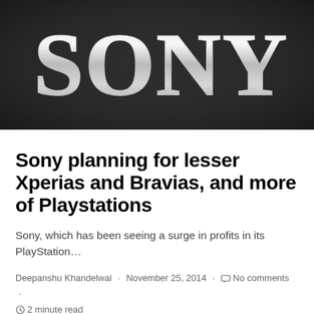[Figure (photo): Close-up photograph of a Sony logo in metallic silver/chrome lettering on a dark charcoal/black textured surface.]
Sony planning for lesser Xperias and Bravias, and more of Playstations
Sony, which has been seeing a surge in profits in its PlayStation…
Deepanshu Khandelwal · November 25, 2014 · No comments · 2 minute read